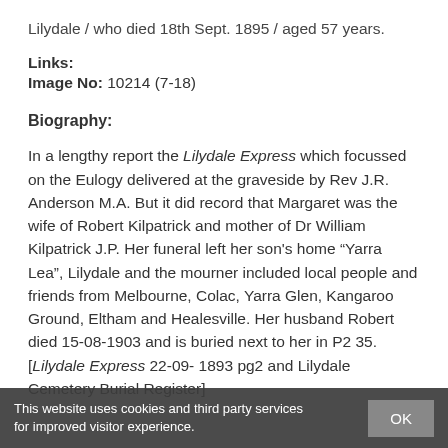Lilydale / who died 18th Sept. 1895 / aged 57 years.
Links:
Image No: 10214 (7-18)
Biography:
In a lengthy report the Lilydale Express which focussed on the Eulogy delivered at the graveside by Rev J.R. Anderson M.A. But it did record that Margaret was the wife of Robert Kilpatrick and mother of Dr William Kilpatrick J.P. Her funeral left her son's home “Yarra Lea”, Lilydale and the mourner included local people and friends from Melbourne, Colac, Yarra Glen, Kangaroo Ground, Eltham and Healesville. Her husband Robert died 15-08-1903 and is buried next to her in P2 35. [Lilydale Express 22-09- 1893 pg2 and Lilydale Cemetery Burial Register]
This website uses cookies and third party services for improved visitor experience.